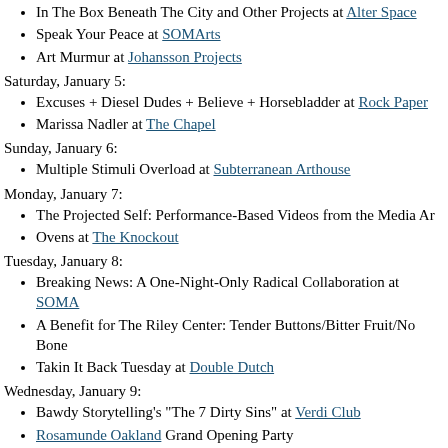In The Box Beneath The City and Other Projects at Alter Space
Speak Your Peace at SOMArts
Art Murmur at Johansson Projects
Saturday, January 5:
Excuses + Diesel Dudes + Believe + Horsebladder at Rock Paper
Marissa Nadler at The Chapel
Sunday, January 6:
Multiple Stimuli Overload at Subterranean Arthouse
Monday, January 7:
The Projected Self: Performance-Based Videos from the Media Ar
Ovens at The Knockout
Tuesday, January 8:
Breaking News: A One-Night-Only Radical Collaboration at SOMA
A Benefit for The Riley Center: Tender Buttons/Bitter Fruit/No Bone
Takin It Back Tuesday at Double Dutch
Wednesday, January 9:
Bawdy Storytelling's "The 7 Dirty Sins" at Verdi Club
Rosamunde Oakland Grand Opening Party
Posted at 10:26 PM in Agenda, Art, Food and Drink, Music, Reading, Video | Permalink